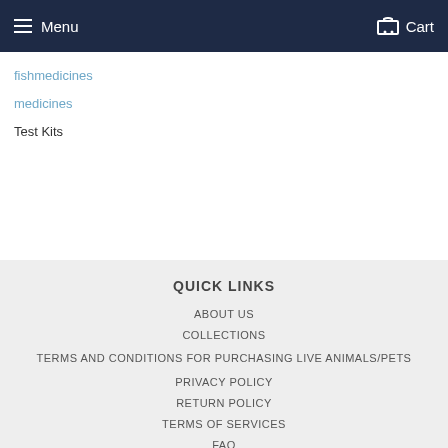Menu  Cart
fishmedicines
medicines
Test Kits
QUICK LINKS
ABOUT US
COLLECTIONS
TERMS AND CONDITIONS FOR PURCHASING LIVE ANIMALS/PETS
PRIVACY POLICY
RETURN POLICY
TERMS OF SERVICES
FAQ